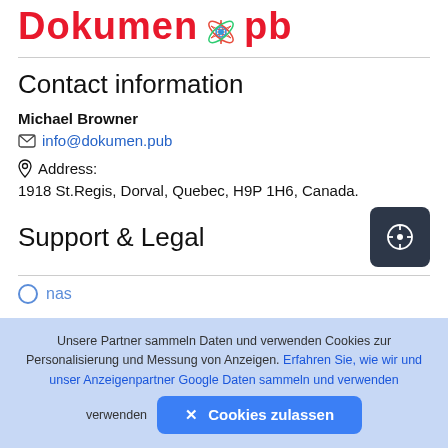Dokumen.pub
Contact information
Michael Browner
info@dokumen.pub
Address:
1918 St.Regis, Dorval, Quebec, H9P 1H6, Canada.
Support & Legal
O nas
Unsere Partner sammeln Daten und verwenden Cookies zur Personalisierung und Messung von Anzeigen. Erfahren Sie, wie wir und unser Anzeigenpartner Google Daten sammeln und verwenden
✕ Cookies zulassen